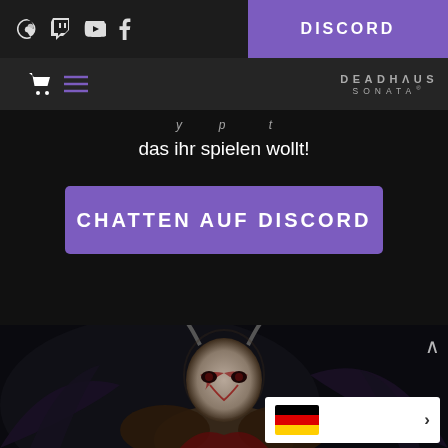DISCORD
[Figure (screenshot): Website navigation bar with Steam, Twitch, YouTube, Facebook icons on left and DISCORD button in purple on right; second row shows cart and hamburger menu icons with DEADHAUS SONATA brand logo]
das ihr spielen wollt!
CHATTEN AUF DISCORD
[Figure (illustration): Dark fantasy character illustration: armored demonic figure with grey/white face, red markings, dark wings and background]
[Figure (infographic): Language selector showing German flag with right arrow chevron]